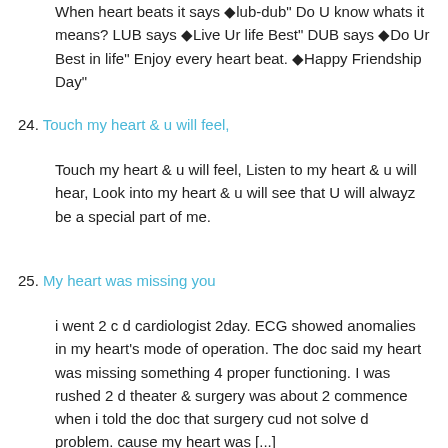When heart beats it says ◆lub-dub" Do U know whats it means? LUB says ◆Live Ur life Best" DUB says ◆Do Ur Best in life" Enjoy every heart beat. ◆Happy Friendship Day"
24. Touch my heart & u will feel,
Touch my heart & u will feel, Listen to my heart & u will hear, Look into my heart & u will see that U will alwayz be a special part of me.
25. My heart was missing you
i went 2 c d cardiologist 2day. ECG showed anomalies in my heart's mode of operation. The doc said my heart was missing something 4 proper functioning. I was rushed 2 d theater & surgery was about 2 commence when i told the doc that surgery cud not solve d problem. cause my heart was [...]